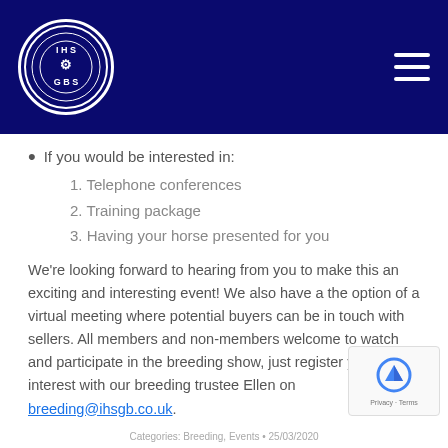IHSGB logo and navigation header
If you would be interested in:
1. Telephone conferences
2. Training package
3. Having your horse presented for you
We're looking forward to hearing from you to make this an exciting and interesting event! We also have a the option of a virtual meeting where potential buyers can be in touch with sellers. All members and non-members welcome to watch and participate in the breeding show, just register your interest with our breeding trustee Ellen on breeding@ihsgb.co.uk.
Categories: Breeding, Events • 25/03/2020